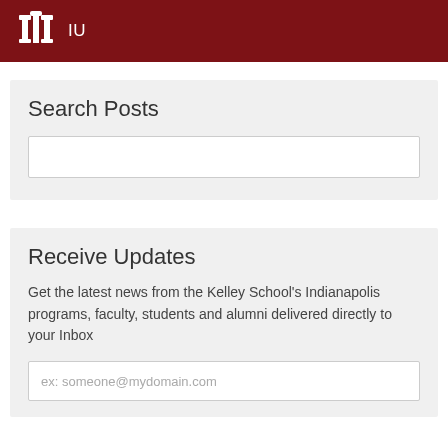IU
Search Posts
Receive Updates
Get the latest news from the Kelley School's Indianapolis programs, faculty, students and alumni delivered directly to your Inbox